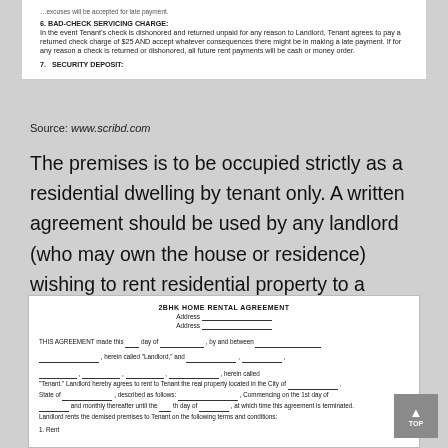6. BAD-CHECK SERVICING CHARGE: In the event Tenant's check is dishonored and returned unpaid for any reason to Landlord, Tenant agrees to pay a returned check charge of $25 AND accept whatever consequences there might be in making a late payment. If for any reason a check is returned or dishonored, all future rent payments will be cash or money order.
7. SECURITY DEPOSIT:
Source: www.scribd.com
The premises is to be occupied strictly as a residential dwelling by tenant only. A written agreement should be used by any landlord (who may own the house or residence) wishing to rent residential property to a tenant.
[Figure (other): 2BHK Home Rental Agreement document snippet showing title, address fields, agreement body with fill-in blanks for date, parties, location, and section 1 Rent heading]